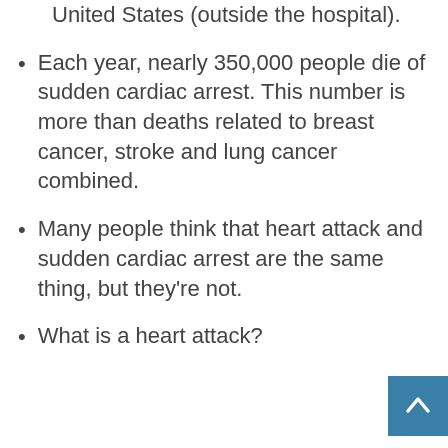arrests occur in the United States (outside the hospital).
Each year, nearly 350,000 people die of sudden cardiac arrest. This number is more than deaths related to breast cancer, stroke and lung cancer combined.
Many people think that heart attack and sudden cardiac arrest are the same thing, but they're not.
What is a heart attack?